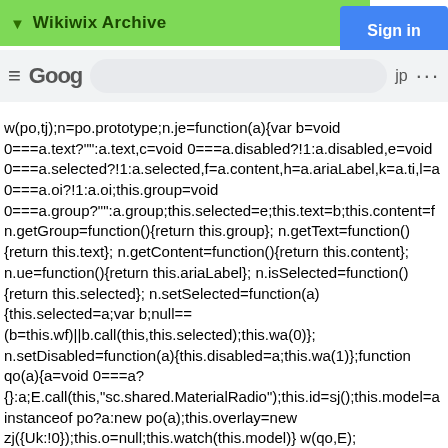Wikiwix Archive
w(po,tj);n=po.prototype;n.je=function(a){var b=void 0===a.text?"":a.text,c=void 0===a.disabled?!1:a.disabled,e=void 0===a.selected?!1:a.selected,f=a.content,h=a.ariaLabel,k=a.ti,l=a 0===a.oi?!1:a.oi;this.group=void 0===a.group?"":a.group;this.selected=e;this.text=b;this.content=f n.getGroup=function(){return this.group}; n.getText=function(){return this.text}; n.getContent=function(){return this.content}; n.ue=function(){return this.ariaLabel}; n.isSelected=function(){return this.selected}; n.setSelected=function(a){this.selected=a;var b;null==(b=this.wf)||b.call(this,this.selected);this.wa(0)}; n.setDisabled=function(a){this.disabled=a;this.wa(1)};function qo(a){a=void 0===a?{}:a;E.call(this,"sc.shared.MaterialRadio");this.id=sj();this.model=a instanceof po?a:new po(a);this.overlay=new zj({Uk:!0});this.o=null;this.watch(this.model)} w(qo,E); qo.prototype.content=function(a){var b=this;a&&this.model.je(a);this.element("div","class",{root:!0,disabled:this.model.disabled,"align-